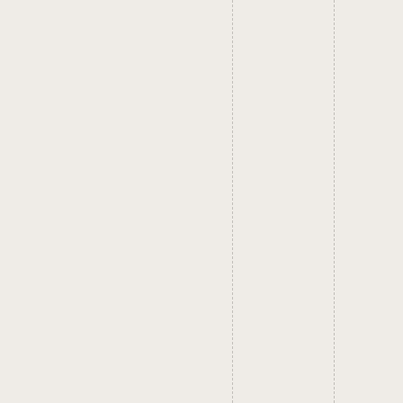on one thing, and it's still damaging us: he managed to maintain the Big Lie that the election was fraudulent, shepherding witnesses to an oversight committee